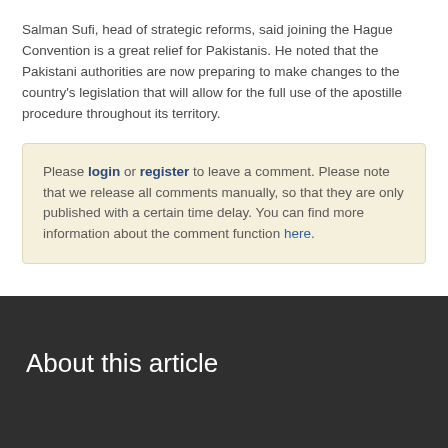Salman Sufi, head of strategic reforms, said joining the Hague Convention is a great relief for Pakistanis. He noted that the Pakistani authorities are now preparing to make changes to the country's legislation that will allow for the full use of the apostille procedure throughout its territory.
Please login or register to leave a comment. Please note that we release all comments manually, so that they are only published with a certain time delay. You can find more information about the comment function here.
About this article